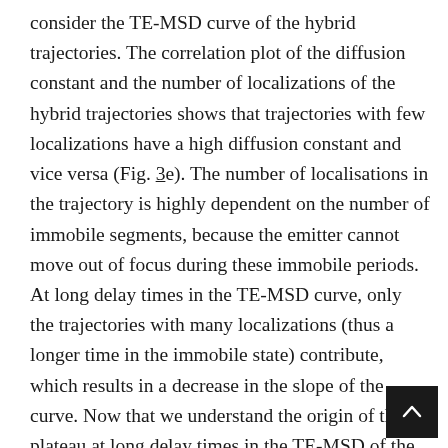consider the TE-MSD curve of the hybrid trajectories. The correlation plot of the diffusion constant and the number of localizations of the hybrid trajectories shows that trajectories with few localizations have a high diffusion constant and vice versa (Fig. 3e). The number of localisations in the trajectory is highly dependent on the number of immobile segments, because the emitter cannot move out of focus during these immobile periods. At long delay times in the TE-MSD curve, only the trajectories with many localizations (thus a longer time in the immobile state) contribute, which results in a decrease in the slope of the curve. Now that we understand the origin of the plateau at long delay times in the TE-MSD of the hybrid trajectories (Fig. 3e), we can explain the TE-MSD prior to classification (Fig. 3d) the curve also flattens to a plateau value—even more